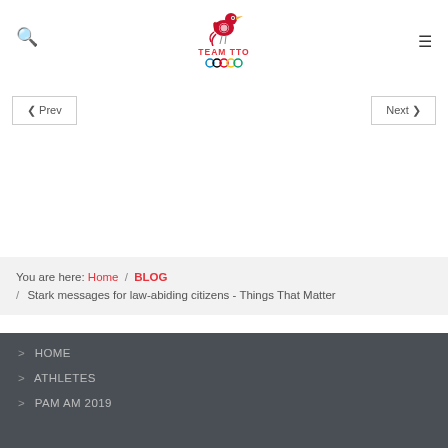[Figure (logo): Team TTO Olympic logo with bird and Olympic rings]
Team TTO | Search icon | Hamburger menu
< Prev     Next >
You are here: Home / BLOG / Stark messages for law-abiding citizens - Things That Matter
> HOME
> ATHLETES
> PAM AM 2019